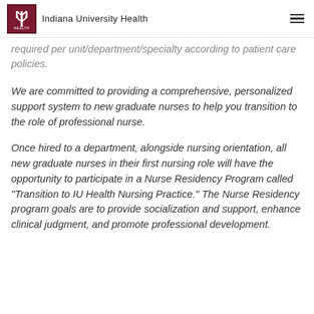Indiana University Health
required per unit/department/specialty according to patient care policies.
We are committed to providing a comprehensive, personalized support system to new graduate nurses to help you transition to the role of professional nurse.
Once hired to a department, alongside nursing orientation, all new graduate nurses in their first nursing role will have the opportunity to participate in a Nurse Residency Program called "Transition to IU Health Nursing Practice." The Nurse Residency program goals are to provide socialization and support, enhance clinical judgment, and promote professional development.